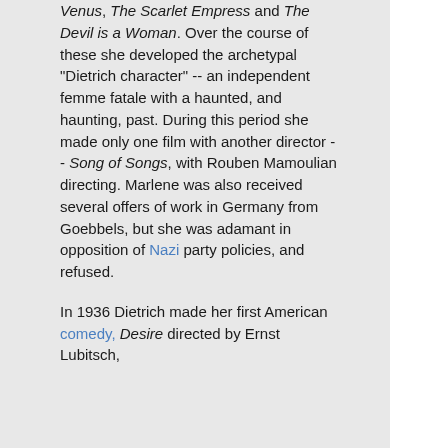Venus, The Scarlet Empress and The Devil is a Woman. Over the course of these she developed the archetypal "Dietrich character" -- an independent femme fatale with a haunted, and haunting, past. During this period she made only one film with another director -- Song of Songs, with Rouben Mamoulian directing. Marlene was also received several offers of work in Germany from Goebbels, but she was adamant in opposition of Nazi party policies, and refused.
In 1936 Dietrich made her first American comedy, Desire directed by Ernst Lubitsch,